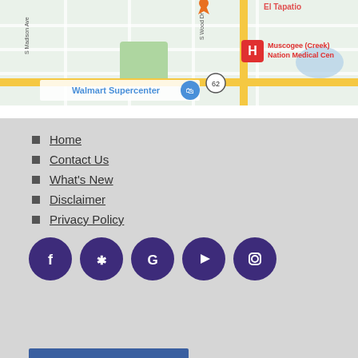[Figure (map): Google Maps screenshot showing area near Muscogee (Creek) Nation Medical Center, Walmart Supercenter, S Madison Ave, S Wood Dr, and highway 62.]
Home
Contact Us
What's New
Disclaimer
Privacy Policy
[Figure (infographic): Row of 5 social media icons (Facebook, Yelp, Google, YouTube, Instagram) in dark purple circles.]